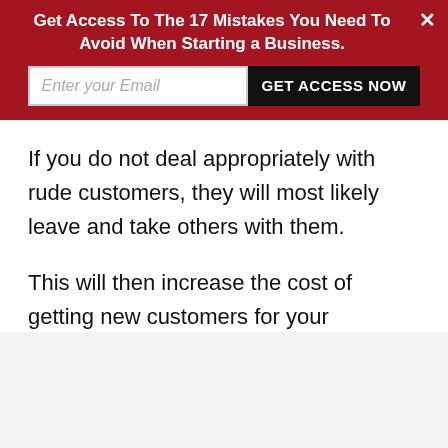Get Access To The 17 Mistakes You Need To Avoid When Starting a Business.
If you do not deal appropriately with rude customers, they will most likely leave and take others with them.
This will then increase the cost of getting new customers for your business, which you could use for other things.